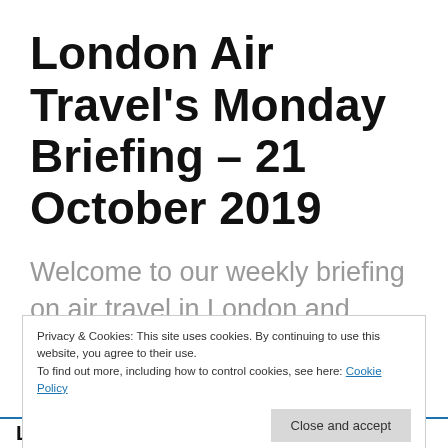London Air Travel's Monday Briefing – 21 October 2019
Welcome to our weekly briefing on air travel in London and around the world, as published every
Privacy & Cookies: This site uses cookies. By continuing to use this website, you agree to their use.
To find out more, including how to control cookies, see here: Cookie Policy
Close and accept
London Air Travel's Monday Briefing – 21